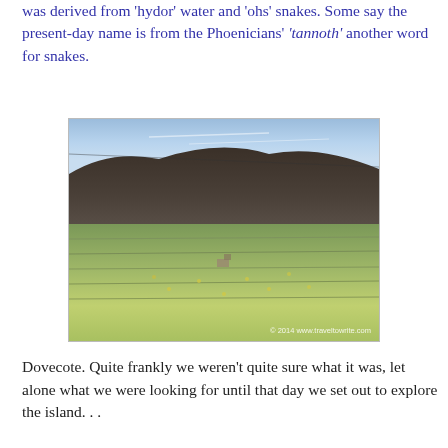was derived from 'hydor' water and 'ohs' snakes. Some say the present-day name is from the Phoenicians' 'tannoth' another word for snakes.
[Figure (photo): Landscape photograph showing terraced hillside with green grass and yellow wildflowers, dark brown rocky hill in background, blue sky with wispy clouds, sea visible in distance. Watermark: © 2014 www.traveltowrite.com]
Dovecote. Quite frankly we weren't quite sure what it was, let alone what we were looking for until that day we set out to explore the island. . .
[Figure (photo): Photograph showing terraced hillside landscape with small white buildings or structures visible among the terraces.]